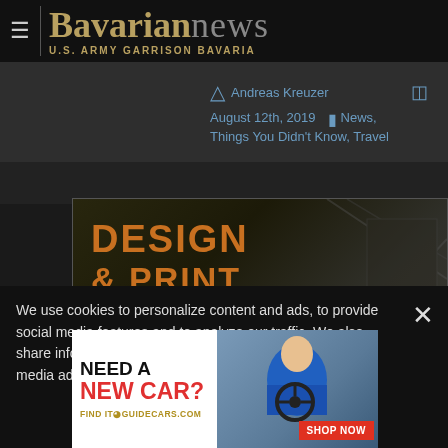Bavarian news — U.S. ARMY GARRISON BAVARIA
Andreas Kreuzer
August 12th, 2019 — News, Things You Didn't Know, Travel
[Figure (photo): Design & Print promotional image with orange bold text on dark background]
We use cookies to personalize content and ads, to provide social media features and to analyze our traffic. We also share information about your use of our site with our social media advertising and information
[Figure (infographic): Advertisement: NEED A NEW CAR? FIND IT GUIDECARS.COM SHOP NOW — showing a man in blue shirt behind steering wheel on blue background]